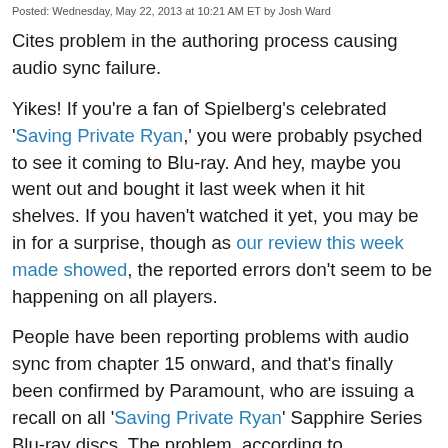Posted: Wednesday, May 22, 2013 at 10:21 AM ET by Josh Ward
Cites problem in the authoring process causing audio sync failure.
Yikes! If you're a fan of Spielberg's celebrated 'Saving Private Ryan,' you were probably psyched to see it coming to Blu-ray. And hey, maybe you went out and bought it last week when it hit shelves. If you haven't watched it yet, you may be in for a surprise, though as our review this week made showed, the reported errors don't seem to be happening on all players.
People have been reporting problems with audio sync from chapter 15 onward, and that's finally been confirmed by Paramount, who are issuing a recall on all 'Saving Private Ryan' Sapphire Series Blu-ray discs. The problem, according to Paramount, occurred during